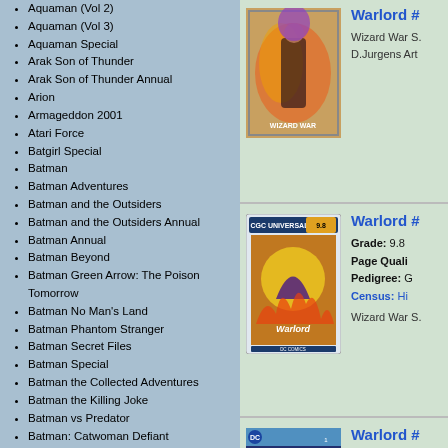Aquaman (Vol 2)
Aquaman (Vol 3)
Aquaman Special
Arak Son of Thunder
Arak Son of Thunder Annual
Arion
Armageddon 2001
Atari Force
Batgirl Special
Batman
Batman Adventures
Batman and the Outsiders
Batman and the Outsiders Annual
Batman Annual
Batman Beyond
Batman Green Arrow: The Poison Tomorrow
Batman No Man's Land
Batman Phantom Stranger
Batman Secret Files
Batman Special
Batman the Collected Adventures
Batman the Killing Joke
Batman vs Predator
Batman: Catwoman Defiant
Batman: Holy Terror
Batman: Legends of the Dark Knight
Batman: Mitefall
Batman: Penguin Triumphant
Batman: Run, Riddler, Run
[Figure (photo): Comic book cover for Warlord, slabbed/graded, showing a warrior figure with flames]
Wizard War S. D.Jurgens Art
[Figure (photo): Comic book cover for Warlord #1, CGC graded 9.8, showing a warrior in flames/fire background]
Grade: 9.8 Page Quality: Census: Hi Wizard War S
[Figure (photo): Comic book cover for Warlord #1, showing a warrior with sword and shield]
Grade: NM Page Quality: Census: 4 i Mariah, Monge Mikola Rostov M.Grell Story